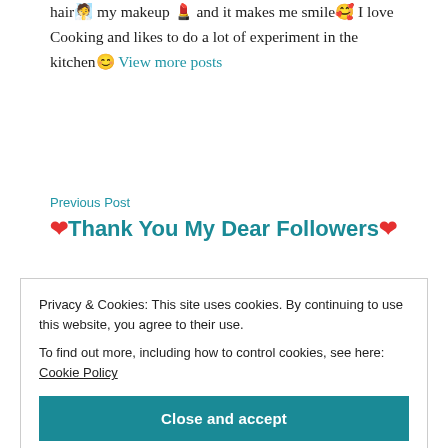hair🧖 my makeup 💄 and it makes me smile🥰 I love Cooking and likes to do a lot of experiment in the kitchen😊 View more posts
Previous Post
❤️Thank You My Dear Followers❤️
Privacy & Cookies: This site uses cookies. By continuing to use this website, you agree to their use.
To find out more, including how to control cookies, see here: Cookie Policy
Close and accept